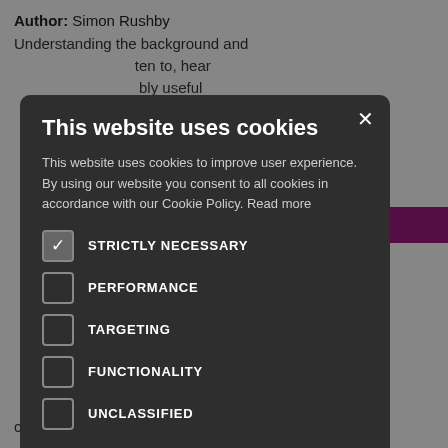Author: Simon Rushby
Understanding the background and ...ten to, hear ...bly useful ...ecially those ...or A level,
[Figure (screenshot): Cookie consent modal dialog on a dark overlay. Title: 'This website uses cookies'. Body text about cookie policy. Checkboxes for: STRICTLY NECESSARY (checked), PERFORMANCE, TARGETING, FUNCTIONALITY, UNCLASSIFIED. Buttons: ACCEPT ALL (green), DECLINE ALL (outlined). SHOW DETAILS link at bottom.]
...loring a ...o give ...ing of common chord progressions, as well